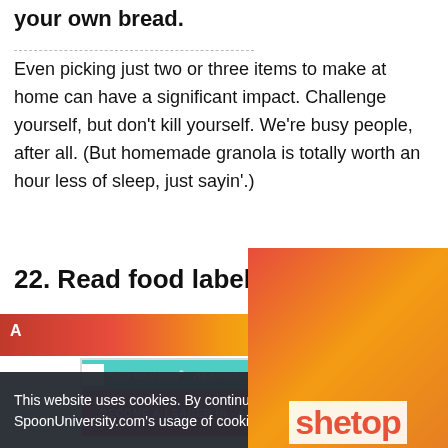your own bread.
Even picking just two or three items to make at home can have a significant impact. Challenge yourself, but don't kill yourself. We're busy people, after all. (But homemade granola is totally worth an hour less of sleep, just sayin'.)
22. Read food labels.
[Figure (photo): Colorful food image banner with gradient colors (red, orange, yellow, green) and letter A visible]
[Figure (other): Her Campus advertisement banner with teal header reading HER CAMPUS repeated, pink background with BECOME A LEADER IN AND MORE! text]
[Figure (photo): Partial view of cereal box photo with red, orange and yellow colors showing partial text]
This website uses cookies. By continuing to use this website, you consent to SpoonUniversity.com's usage of cookies and similar technologies  Learn more